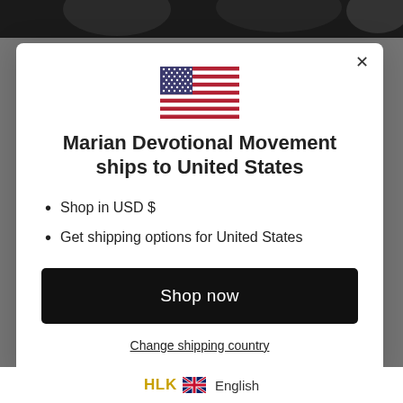[Figure (photo): Dark photo strip at top of page showing people in background]
[Figure (illustration): United States flag emoji/icon centered in modal]
Marian Devotional Movement ships to United States
Shop in USD $
Get shipping options for United States
Shop now
Change shipping country
English